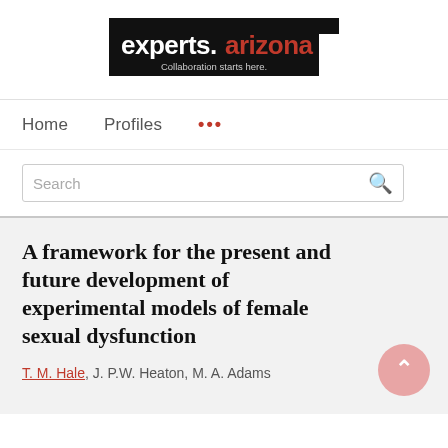[Figure (logo): experts.arizona logo with tagline 'Collaboration starts here.' on black background]
Home   Profiles   ...
Search
A framework for the present and future development of experimental models of female sexual dysfunction
T. M. Hale, J. P.W. Heaton, M. A. Adams